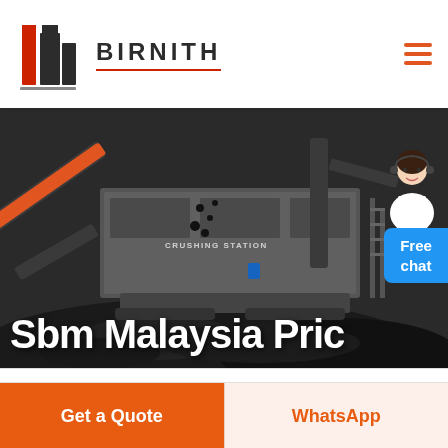BIRNITH
[Figure (photo): Industrial crushing station machine with conveyor belts and piles of crushed rock/coal in dark tones. Text 'CRUSHING STATION' visible on machinery.]
Sbm Malaysia Pric
[Figure (other): Free chat button badge in blue with female customer service avatar]
Get a Quote
WhatsApp